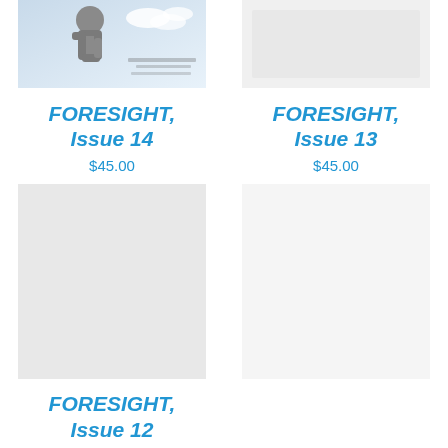[Figure (photo): Cover image of FORESIGHT Issue 14 — statue figure against blue sky]
[Figure (photo): Cover image of FORESIGHT Issue 13 — light/white cover]
FORESIGHT, Issue 14
$45.00
FORESIGHT, Issue 13
$45.00
[Figure (photo): Cover image of FORESIGHT Issue 12 — partially visible]
FORESIGHT, Issue 12